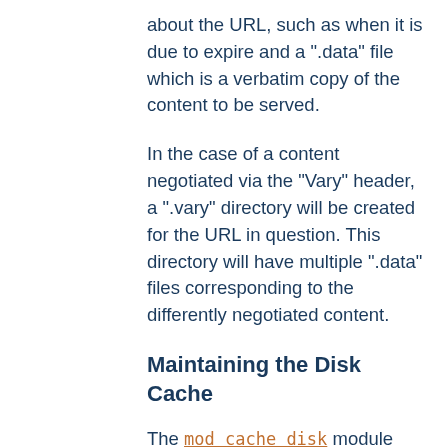about the URL, such as when it is due to expire and a ".data" file which is a verbatim copy of the content to be served.
In the case of a content negotiated via the "Vary" header, a ".vary" directory will be created for the URL in question. This directory will have multiple ".data" files corresponding to the differently negotiated content.
Maintaining the Disk Cache
The mod_cache_disk module makes no attempt to regulate the amount of disk space used by the cache, although it will